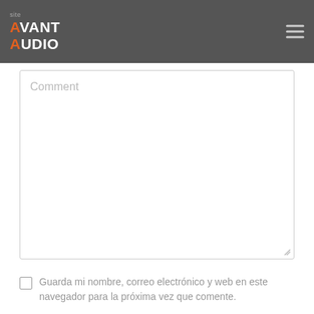AVANT AUDIO site
Comment
Guarda mi nombre, correo electrónico y web en este navegador para la próxima vez que comente.
Search ...
Categories